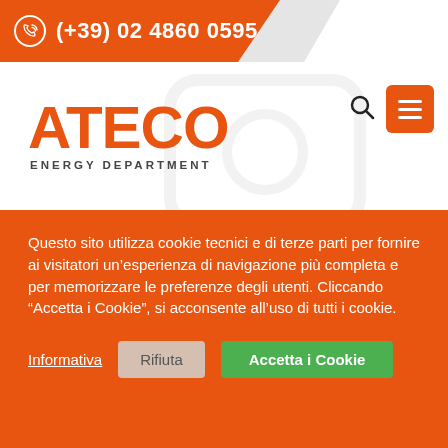(+39) 02 4860 0595
[Figure (logo): ATECO Energy Department logo with orange text and gray card/chip icon in background]
Questo sito utilizza cookie tecnici e di terze parti per fornire ai visitatori un’esperienza di navigazione più completa e per memorizzare le preferenze degli utenti. Cliccando “Accetta i Cookie”, si acconsente all’uso di tutti i cookie.
Informativa	Rifiuta	Accetta i Cookie